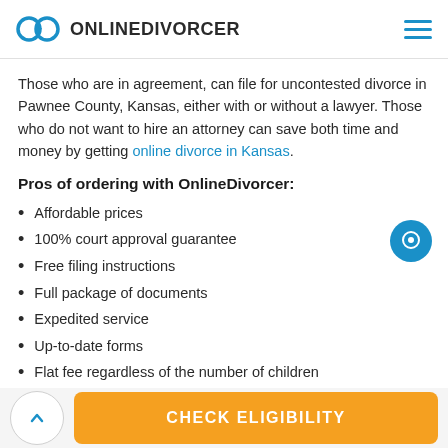ONLINEDIVORCER
Those who are in agreement, can file for uncontested divorce in Pawnee County, Kansas, either with or without a lawyer. Those who do not want to hire an attorney can save both time and money by getting online divorce in Kansas.
Pros of ordering with OnlineDivorcer:
Affordable prices
100% court approval guarantee
Free filing instructions
Full package of documents
Expedited service
Up-to-date forms
Flat fee regardless of the number of children